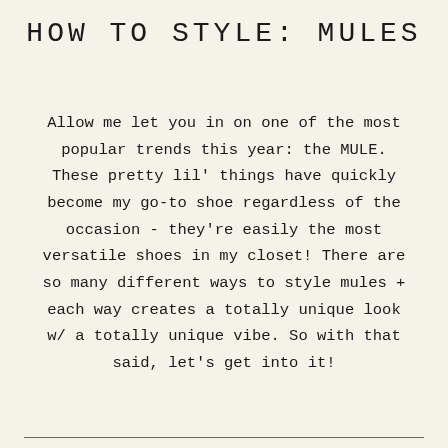HOW TO STYLE: MULES
Allow me let you in on one of the most popular trends this year: the MULE. These pretty lil' things have quickly become my go-to shoe regardless of the occasion - they're easily the most versatile shoes in my closet! There are so many different ways to style mules + each way creates a totally unique look w/ a totally unique vibe. So with that said, let's get into it!